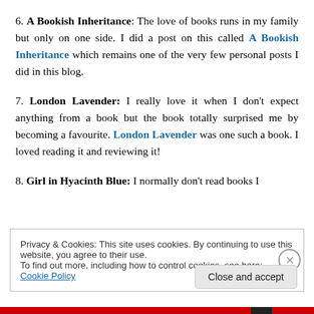6. A Bookish Inheritance: The love of books runs in my family but only on one side. I did a post on this called A Bookish Inheritance which remains one of the very few personal posts I did in this blog.
7. London Lavender: I really love it when I don't expect anything from a book but the book totally surprised me by becoming a favourite. London Lavender was one such a book. I loved reading it and reviewing it!
8. Girl in Hyacinth Blue: I normally don't read books I
Privacy & Cookies: This site uses cookies. By continuing to use this website, you agree to their use.
To find out more, including how to control cookies, see here: Cookie Policy
Close and accept